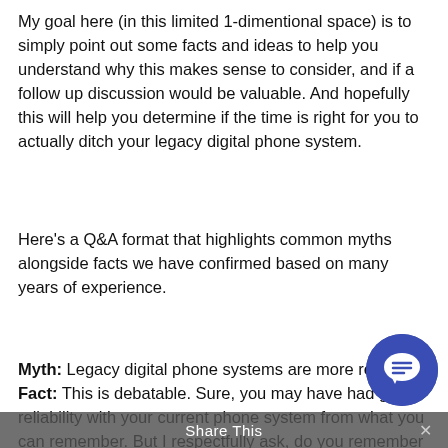My goal here (in this limited 1-dimentional space) is to simply point out some facts and ideas to help you understand why this makes sense to consider, and if a follow up discussion would be valuable. And hopefully this will help you determine if the time is right for you to actually ditch your legacy digital phone system.
Here's a Q&A format that highlights common myths alongside facts we have confirmed based on many years of experience.
Myth: Legacy digital phone systems are more reliable. Fact: This is debatable. Sure, you may have had great reliability with your current phone system from what you can remember. But I respectfully ask, do you remember its entire service history. I'll also point out that while you may have had great luck (knock wood), overall, cloud-based VoIP systems have an uptime of 99.999%, which is far superior to the reliability of legacy digital phone systems. And legacy digital systems can't compete with
[Figure (other): Chat/message bubble icon in a dark blue circle, overlapping lower right of page content]
Share This  ×